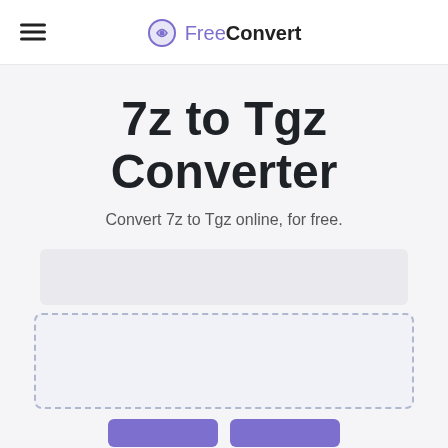FreeConvert
7z to Tgz Converter
Convert 7z to Tgz online, for free.
[Figure (screenshot): Upload dropzone area with grey background bar and dashed border upload region]